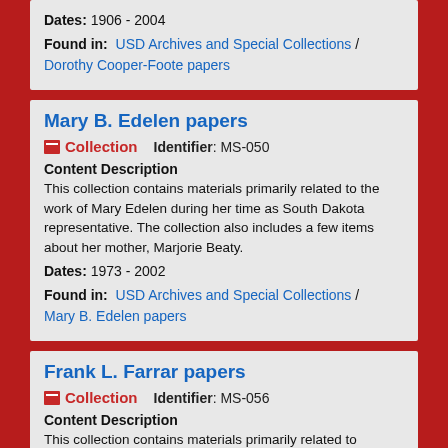Dates: 1906 - 2004
Found in: USD Archives and Special Collections / Dorothy Cooper-Foote papers
Mary B. Edelen papers
Collection   Identifier: MS-050
Content Description
This collection contains materials primarily related to the work of Mary Edelen during her time as South Dakota representative. The collection also includes a few items about her mother, Marjorie Beaty.
Dates: 1973 - 2002
Found in: USD Archives and Special Collections / Mary B. Edelen papers
Frank L. Farrar papers
Collection   Identifier: MS-056
Content Description
This collection contains materials primarily related to